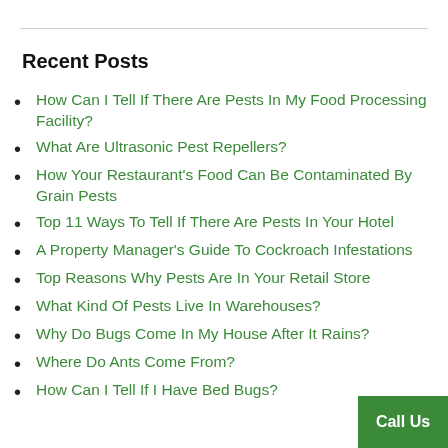Recent Posts
How Can I Tell If There Are Pests In My Food Processing Facility?
What Are Ultrasonic Pest Repellers?
How Your Restaurant's Food Can Be Contaminated By Grain Pests
Top 11 Ways To Tell If There Are Pests In Your Hotel
A Property Manager's Guide To Cockroach Infestations
Top Reasons Why Pests Are In Your Retail Store
What Kind Of Pests Live In Warehouses?
Why Do Bugs Come In My House After It Rains?
Where Do Ants Come From?
How Can I Tell If I Have Bed Bugs?